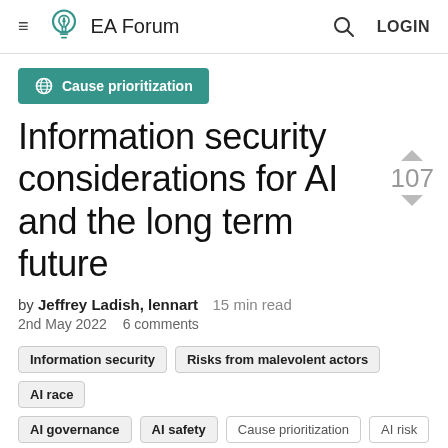EA Forum — LOGIN
Cause prioritization
Information security considerations for AI and the long term future
by Jeffrey Ladish, lennart   15 min read
2nd May 2022   6 comments
Information security
Risks from malevolent actors
AI race
AI governance
AI safety
Cause prioritization
AI risk
Frontpage